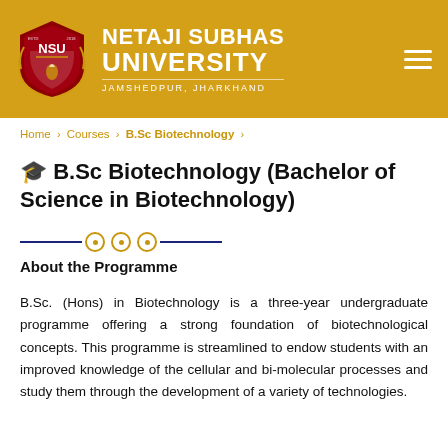NETAJI SUBHAS UNIVERSITY — JAMSHEDPUR, JHARKHAND
Home > Courses > B.Sc Biotechnology >
🎓 B.Sc Biotechnology (Bachelor of Science in Biotechnology)
About the Programme
B.Sc. (Hons) in Biotechnology is a three-year undergraduate programme offering a strong foundation of biotechnological concepts. This programme is streamlined to endow students with an improved knowledge of the cellular and bi-molecular processes and study them through the development of a variety of technologies.